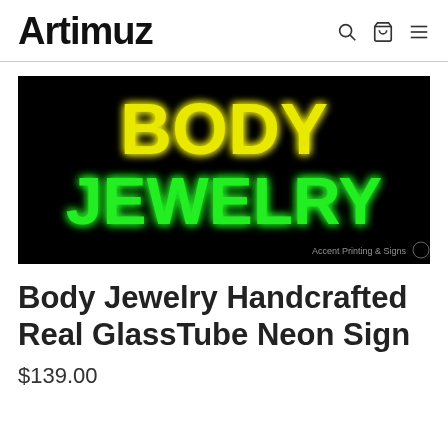Artimuz
[Figure (photo): Neon sign with black background showing 'BODY' in yellow glowing letters and 'JEWELRY' in bright green glowing letters, with 'Accent Printing & Signs' watermark in bottom right corner.]
Body Jewelry Handcrafted Real GlassTube Neon Sign
$139.00